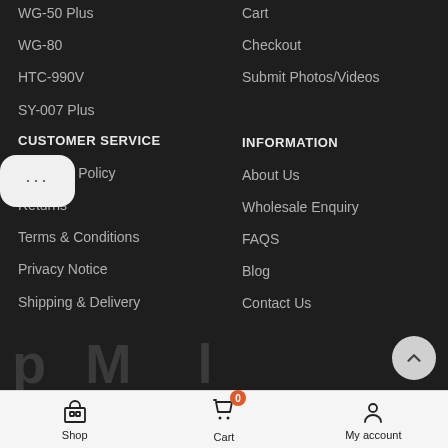WG-50 Plus
WG-80
HTC-990V
SY-007 Plus
Cart
Checkout
Submit Photos/Videos
CUSTOMER SERVICE
INFORMATION
Warranty Policy
About Us
Returns
Wholesale Enquiry
Terms & Conditions
FAQS
Privacy Notice
Blog
Shipping & Delivery
Contact Us
Shop  Cart  My account